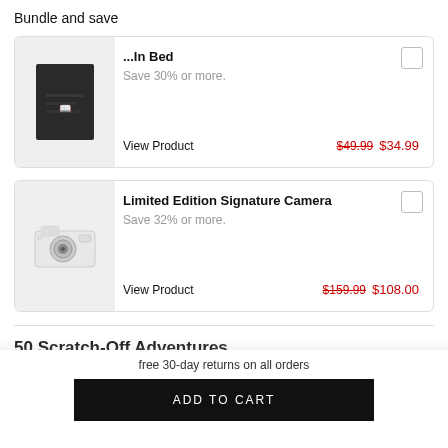Bundle and save
[Figure (photo): Product card showing a dark notebook with text '...In Bed', original price $49.99 struck through, sale price $34.99, Save 30% or more.]
[Figure (photo): Product card showing a Limited Edition Signature Camera (white compact camera), original price $159.99 struck through, sale price $108.00, Save 32% or more.]
50 Scratch-Off Adventures
free 30-day returns on all orders
ADD TO CART